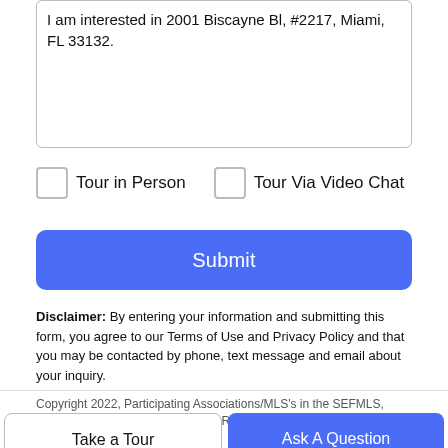I am interested in 2001 Biscayne Bl, #2217, Miami, FL 33132.
Tour in Person
Tour Via Video Chat
Submit
Disclaimer: By entering your information and submitting this form, you agree to our Terms of Use and Privacy Policy and that you may be contacted by phone, text message and email about your inquiry.
Copyright 2022, Participating Associations/MLS's in the SEFMLS, MIAMI Association of REALTORS, Realtor Association of Greater...
Take a Tour
Ask A Question